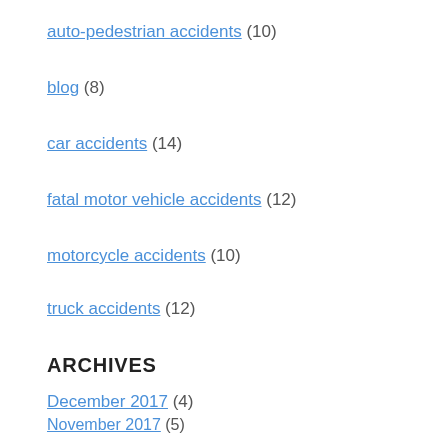auto-pedestrian accidents (10)
blog (8)
car accidents (14)
fatal motor vehicle accidents (12)
motorcycle accidents (10)
truck accidents (12)
ARCHIVES
December 2017 (4)
November 2017 (5)
October 2017 (6)
September 2017 (5)